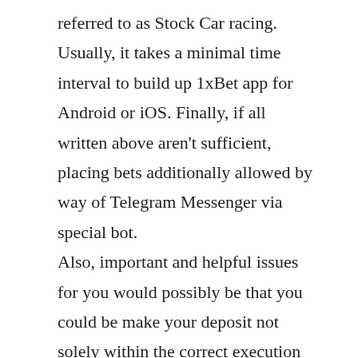referred to as Stock Car racing. Usually, it takes a minimal time interval to build up 1xBet app for Android or iOS. Finally, if all written above aren't sufficient, placing bets additionally allowed by way of Telegram Messenger via special bot. Also, important and helpful issues for you would possibly be that you could be make your deposit not solely within the correct execution of frequent money but additionally cryptocurrency, e. The useful characteristic which permits you not to miss an necessary event and all the time know about the results. The web site has a considerably massive part of video messages;, nonetheless , you'll find a way to watch videos solely if you end up registered and get a positive stability. The 1xBet com English language model has